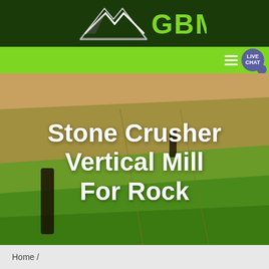[Figure (logo): GBM company logo with green arrow/mountain graphic and green text 'GBM' on dark green background header]
[Figure (screenshot): Green navigation bar with hamburger menu lines and circular 'LIVE CHAT' button in blue-purple]
[Figure (photo): Aerial photograph of rolling farmland with plowed fields, green crops, and trees, used as hero background image]
Stone Crusher Vertical Mill For Rock
Home /